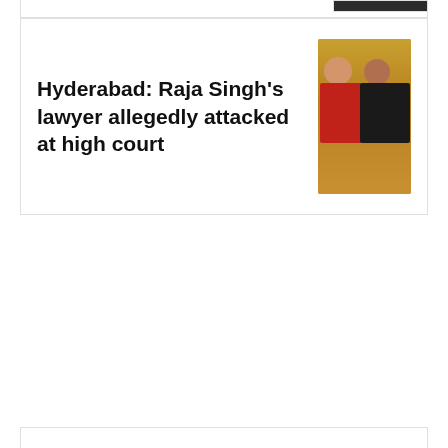[Figure (photo): Partial image visible at top right corner, dark background]
Hyderabad: Raja Singh's lawyer allegedly attacked at high court
[Figure (photo): Photo of a man in a red shirt seated next to another person in formal wear, yellow/orange background]